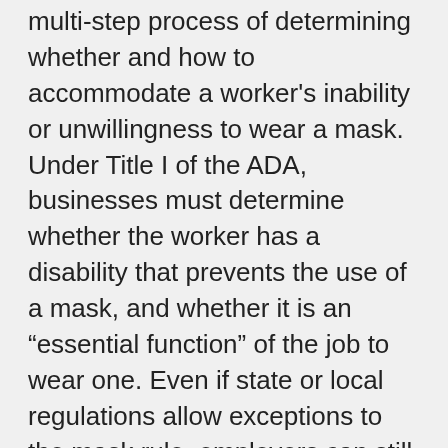multi-step process of determining whether and how to accommodate a worker's inability or unwillingness to wear a mask. Under Title I of the ADA, businesses must determine whether the worker has a disability that prevents the use of a mask, and whether it is an "essential function" of the job to wear one. Even if state or local regulations allow exceptions to the mask rule, employers can still comply with ADA and require a mask if the safety of coworkers or customers demands it.
Employers can also require medical documentation of the disability. But stores can't stop customers to question them about their condition or request medical documentation. That leaves them "between a rock and a hard place," Petesch said, because they have no way of determining whether a customer is telling the truth when they say they can't wear a mask or